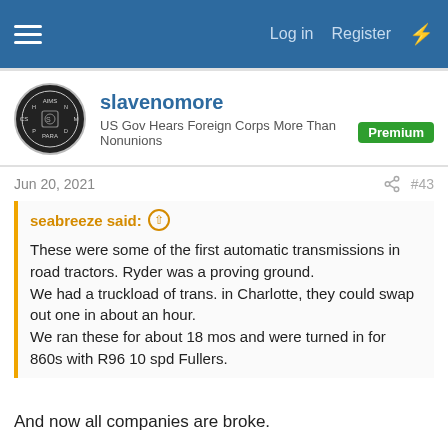Log in  Register
slavenomore
US Gov Hears Foreign Corps More Than Nonunions  Premium
Jun 20, 2021  #43
seabreeze said: These were some of the first automatic transmissions in road tractors. Ryder was a proving ground. We had a truckload of trans. in Charlotte, they could swap out one in about an hour. We ran these for about 18 mos and were turned in for 860s with R96 10 spd Fullers.
And now all companies are broke.
Progress.
No trailer loads of anything sitting at a terminal,let alone a truckload of transmissions.....which could be swapped out in an hour.
Progress.